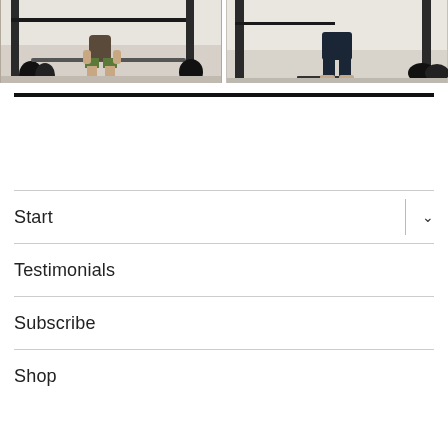[Figure (photo): Two side-by-side gym photos showing a person performing a deadlift exercise with a barbell in a home gym with a squat rack, weight plates visible on the floor]
Start
Testimonials
Subscribe
Shop